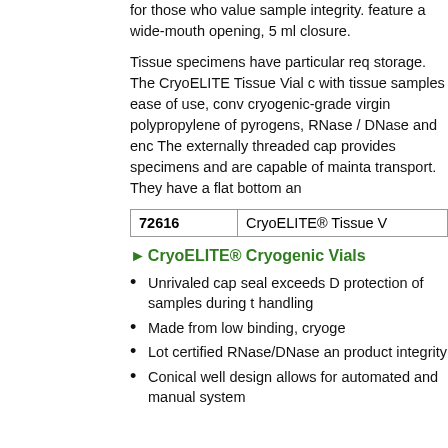for those who value sample integrity. feature a wide-mouth opening, 5 ml closure.
Tissue specimens have particular req storage. The CryoELITE Tissue Vial with tissue samples ease of use, conv cryogenic-grade virgin polypropylene of pyrogens, RNase / DNase and enc The externally threaded cap provides specimens and are capable of mainta transport. They have a flat bottom an
| 72616 | CryoELITE® Tissue V |
| --- | --- |
►CryoELITE® Cryogenic Vials
Unrivaled cap seal exceeds D protection of samples during t handling
Made from low binding, cryoge
Lot certified RNase/DNase an product integrity
Conical well design allows for automated and manual system